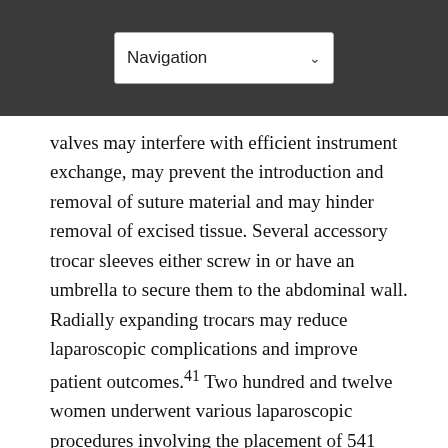Navigation
valves may interfere with efficient instrument exchange, may prevent the introduction and removal of suture material and may hinder removal of excised tissue. Several accessory trocar sleeves either screw in or have an umbrella to secure them to the abdominal wall. Radially expanding trocars may reduce laparoscopic complications and improve patient outcomes.41 Two hundred and twelve women underwent various laparoscopic procedures involving the placement of 541 radially expanding access cannulas, and no major complications occurred. One patient developed a postoperative mesenteric